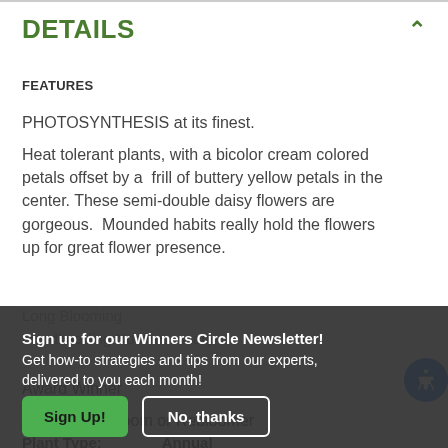DETAILS
FEATURES
PHOTOSYNTHESIS at its finest.
Heat tolerant plants, with a bicolor cream colored petals offset by a  frill of buttery yellow petals in the center. These semi-double daisy flowers are gorgeous.  Mounded habits really hold the flowers up for great flower presence.
Award Winner
Continuous Bloom or Rebloomer
Long Blooming
Deadheading Not Necessary
Sign up for our Winners Circle Newsletter! Get how-to strategies and tips from our experts, delivered to you each month!
Plant Type: Annual